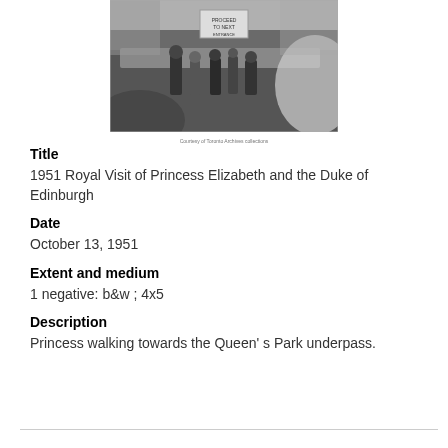[Figure (photo): Black and white photograph of a crowd scene, Princess walking towards the Queen's Park underpass. A sign is visible in the background above the crowd.]
Title
1951 Royal Visit of Princess Elizabeth and the Duke of Edinburgh
Date
October 13, 1951
Extent and medium
1 negative: b&w ; 4x5
Description
Princess walking towards the Queen' s Park underpass.